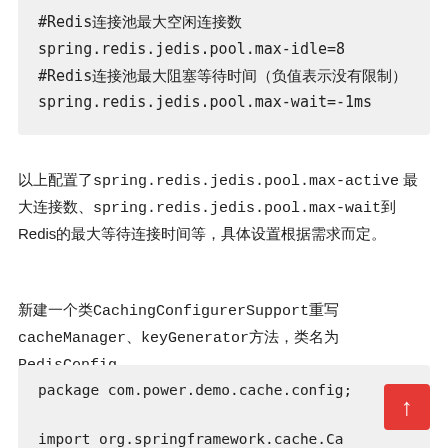#Redis连接池最大空闲连接数
spring.redis.jedis.pool.max-idle=8
#Redis连接池最大阻塞等待时间（负值表示没有限制）
spring.redis.jedis.pool.max-wait=-1ms
以上配置了spring.redis.jedis.pool.max-active 最大连接数、spring.redis.jedis.pool.max-wait到Redis的最大等待连接时间等，具体设置根据需求而定。
新建一个类CachingConfigurerSupport重写cacheManager、keyGenerator方法，类名为RedisConfig。
package com.power.demo.cache.config;

import org.springframework.cache.Ca
import org.springframework.cache.an
import org.springframework.cache.anno